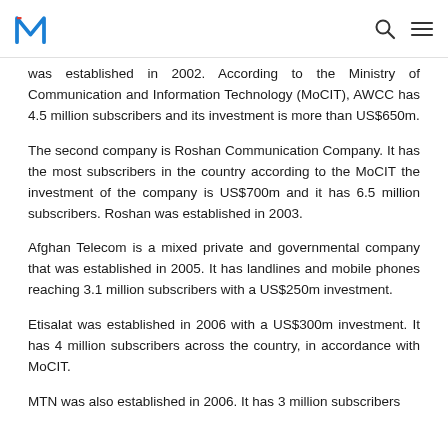[Logo: M] [Search icon] [Menu icon]
was established in 2002. According to the Ministry of Communication and Information Technology (MoCIT), AWCC has 4.5 million subscribers and its investment is more than US$650m.
The second company is Roshan Communication Company. It has the most subscribers in the country according to the MoCIT the investment of the company is US$700m and it has 6.5 million subscribers. Roshan was established in 2003.
Afghan Telecom is a mixed private and governmental company that was established in 2005. It has landlines and mobile phones reaching 3.1 million subscribers with a US$250m investment.
Etisalat was established in 2006 with a US$300m investment. It has 4 million subscribers across the country, in accordance with MoCIT.
MTN was also established in 2006. It has 3 million subscribers